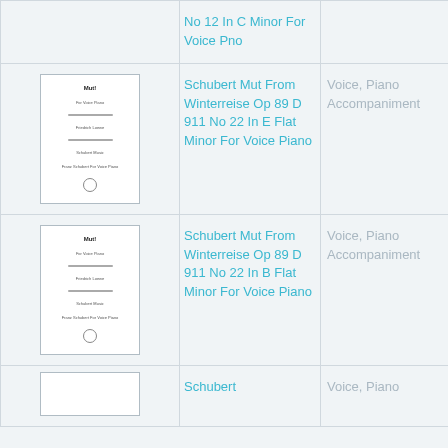| Image | Title | Instrumentation | Level | Number |
| --- | --- | --- | --- | --- |
| [image] | No 12 In C Minor For Voice Pno |  |  |  |
| [image] | Schubert Mut From Winterreise Op 89 D 911 No 22 In E Flat Minor For Voice Piano | Voice, Piano Accompaniment | Intermediate | 134 |
| [image] | Schubert Mut From Winterreise Op 89 D 911 No 22 In B Flat Minor For Voice Piano | Voice, Piano Accompaniment | Intermediate | 927 |
| [image] | Schubert | Voice, Piano | Intermediate | 32 |